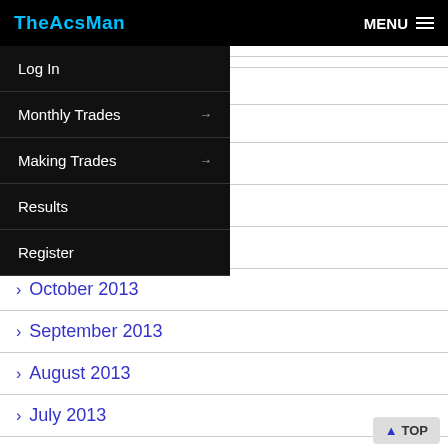TheAcsMan  MENU
Log In
Monthly Trades →
Making Trades →
Results
Register
> January 2014
> December 2013
> November 2013
> October 2013
> September 2013
> August 2013
> July 2013